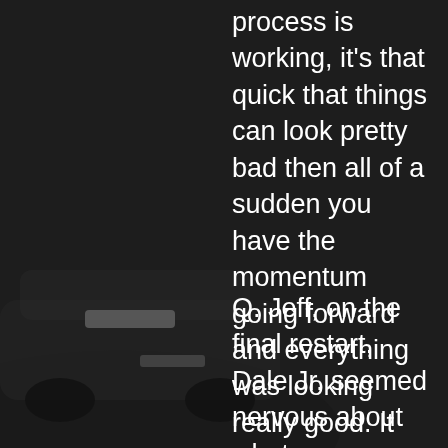[Figure (photo): Dark background photo of a NASCAR race car on track, with a driver visible, dark gray/black tones]
process is working, it's that quick that things can look pretty bad then all of a sudden you have the momentum going forward and everything was looking really good. It was like that on those closing laps for quite a while.
Q. Jeff, on the final restart, Dale Jr. seemed nervous about what you were going to do. Logano appeared to lay back. With this being like the second year in a row with these rules, everybody more comfortable with this car at the plate tracks, is it becoming more difficult to